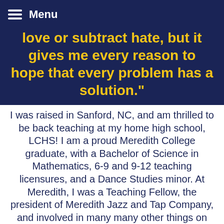Menu
love or subtract hate, but it gives me every reason to hope that every problem has a solution."
I was raised in Sanford, NC, and am thrilled to be back teaching at my home high school, LCHS! I am a proud Meredith College graduate, with a Bachelor of Science in Mathematics, 6-9 and 9-12 teaching licensures, and a Dance Studies minor. At Meredith, I was a Teaching Fellow, the president of Meredith Jazz and Tap Company, and involved in many many other things on campus! My favorite things (besides teaching math!) are spending time with my friends and family, dancing, and going to Disney World!! The past year and half I lived in Orlando